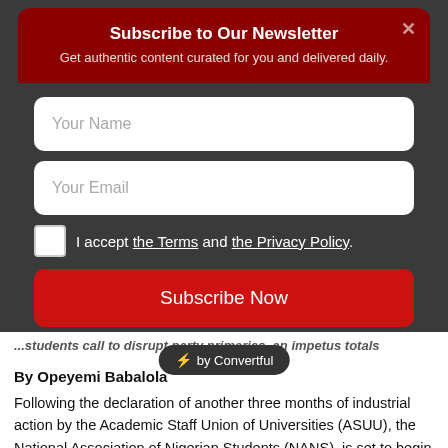Subscribe to Our Newsletter
Get authentic content curated for you and delivered daily.
Your Name
Your Email
I accept the Terms and the Privacy Policy.
Subscribe Now
by Convertful
By Opeyemi Babalola
Following the declaration of another three months of industrial action by the Academic Staff Union of Universities (ASUU), the National Association of Nigerian Students (NANS), is set to begin a nationwide shutdown in the country today.